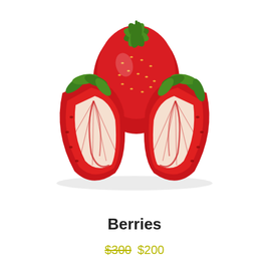[Figure (photo): Three strawberries arranged together — two halved strawberries in the foreground showing the white interior and red flesh, and one whole strawberry with green leaves in the background.]
Berries
$300 $200